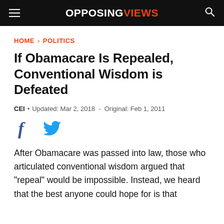OPPOSINGVIEWS
HOME › POLITICS
If Obamacare Is Repealed, Conventional Wisdom is Defeated
CEI • Updated: Mar 2, 2018 - Original: Feb 1, 2011
[Figure (other): Social sharing icons: Facebook (f) and Twitter bird icon]
After Obamacare was passed into law, those who articulated conventional wisdom argued that "repeal" would be impossible. Instead, we heard that the best anyone could hope for is that